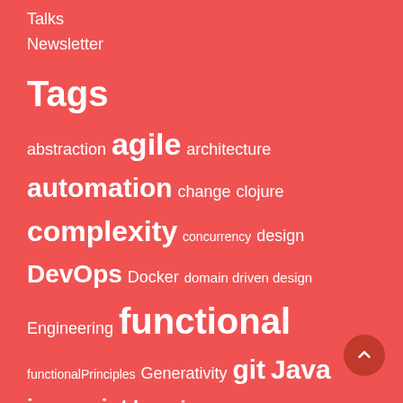Talks
Newsletter
Tags
abstraction agile architecture automation change clojure complexity concurrency design DevOps Docker domain driven design Engineering functional functionalPrinciples Generativity git Java javascript learning node philosophy products property-based testing reference ruby scala science Software Development symmathesy systems Systems Thinking